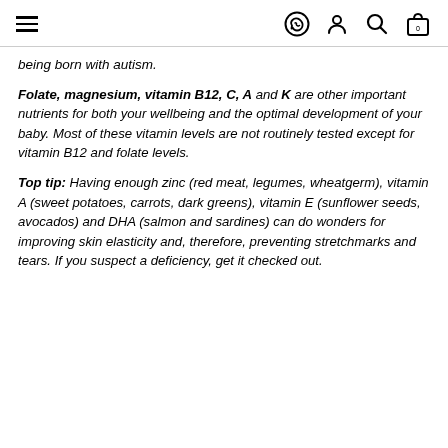Navigation header with hamburger menu and icons for WhatsApp, user account, search, and shopping bag (0)
being born with autism.
Folate, magnesium, vitamin B12, C, A and K are other important nutrients for both your wellbeing and the optimal development of your baby. Most of these vitamin levels are not routinely tested except for vitamin B12 and folate levels.
Top tip: Having enough zinc (red meat, legumes, wheatgerm), vitamin A (sweet potatoes, carrots, dark greens), vitamin E (sunflower seeds, avocados) and DHA (salmon and sardines) can do wonders for improving skin elasticity and, therefore, preventing stretchmarks and tears. If you suspect a deficiency, get it checked out.